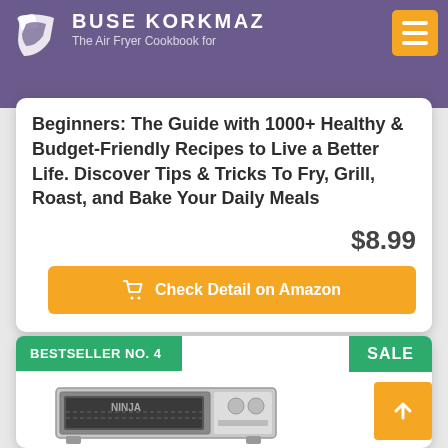BUSE KORKMAZ
The Air Fryer Cookbook for Beginners: The Guide with 1000+ Healthy & Budget-Friendly Recipes to Live a Better Life. Discover Tips & Tricks To Fry, Grill, Roast, and Bake Your Daily Meals
$8.99
Check Detail on Amazon
BESTSELLER NO. 4
SALE
[Figure (photo): Ninja Foodi toaster oven / air fryer countertop oven product photo]